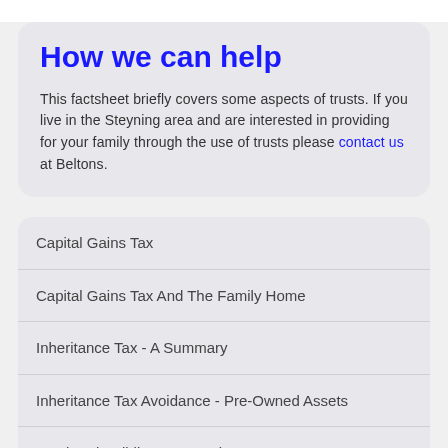How we can help
This factsheet briefly covers some aspects of trusts. If you live in the Steyning area and are interested in providing for your family through the use of trusts please contact us at Beltons.
Capital Gains Tax
Capital Gains Tax And The Family Home
Inheritance Tax - A Summary
Inheritance Tax Avoidance - Pre-Owned Assets
Land And Building Transaction Tax